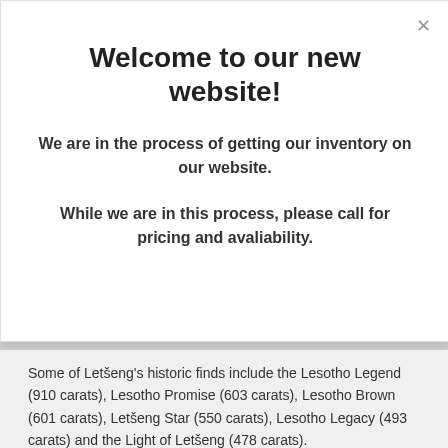Welcome to our new website!
We are in the process of getting our inventory on our website.
While we are in this process, please call for pricing and avaliability.
Some of Letšeng's historic finds include the Lesotho Legend (910 carats), Lesotho Promise (603 carats), Lesotho Brown (601 carats), Letšeng Star (550 carats), Lesotho Legacy (493 carats) and the Light of Letšeng (478 carats).